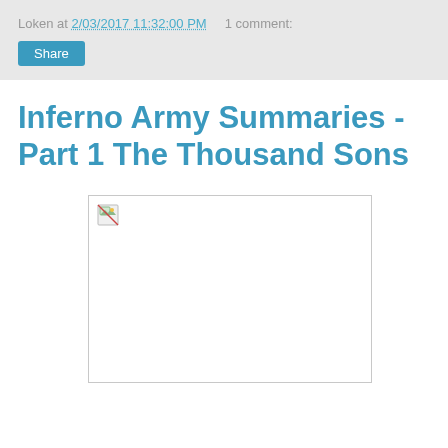Loken at 2/03/2017 11:32:00 PM   1 comment:
Inferno Army Summaries - Part 1 The Thousand Sons
[Figure (photo): Broken image placeholder with small icon in top-left corner of a white bordered box]